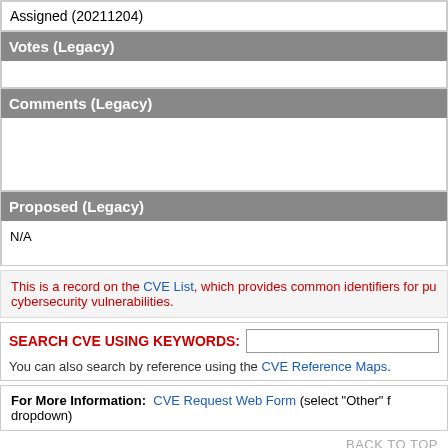| Assigned (20211204) |
| Votes (Legacy) |
|  |
| Comments (Legacy) |
|  |
| Proposed (Legacy) |
| N/A |
This is a record on the CVE List, which provides common identifiers for publicly known cybersecurity vulnerabilities.
SEARCH CVE USING KEYWORDS:
You can also search by reference using the CVE Reference Maps.
For More Information: CVE Request Web Form (select "Other" from dropdown)
BACK TO TOP
Site Map | Terms of Use | Privacy Policy | Contact Us | Follow CVE
Use of the CVE® List and the associated references from this website are subject to the terms of use. CVE is sponsored by the U.S. Department of Homeland